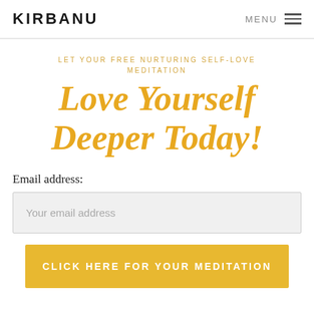KIRBANU | MENU
LET YOUR FREE NURTURING SELF-LOVE MEDITATION
Love Yourself Deeper Today!
Email address:
Your email address
CLICK HERE FOR YOUR MEDITATION